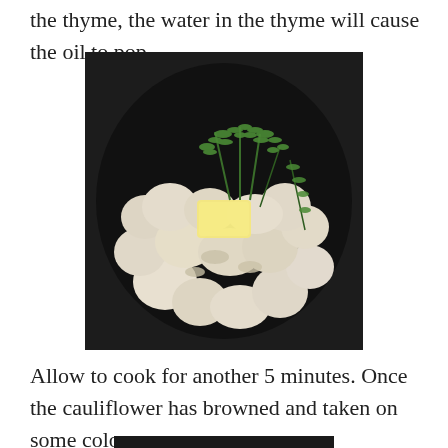the thyme, the water in the thyme will cause the oil to pop.
[Figure (photo): Overhead view of a dark pan filled with cauliflower florets, a pat of butter, and fresh thyme sprigs on top.]
Allow to cook for another 5 minutes. Once the cauliflower has browned and taken on some color,
[Figure (photo): Another overhead view of a dark pan with cooked cauliflower, partially visible at bottom of page.]